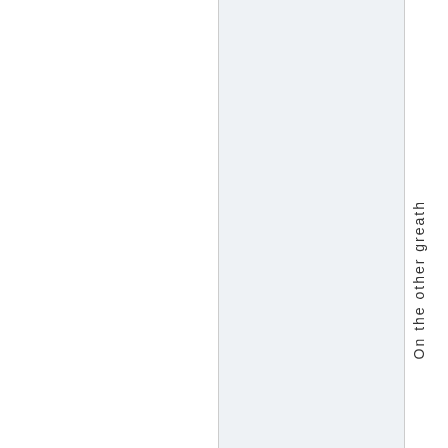[Figure (other): Two-column layout: left white panel and right light-blue/grey panel, with vertical text reading 'On the other greath' along the far right edge]
On the other greath